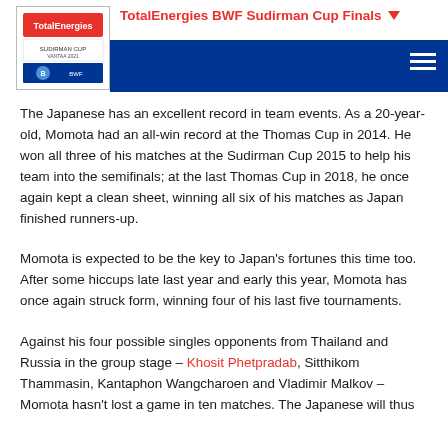TotalEnergies BWF Sudirman Cup Finals
The Japanese has an excellent record in team events. As a 20-year-old, Momota had an all-win record at the Thomas Cup in 2014. He won all three of his matches at the Sudirman Cup 2015 to help his team into the semifinals; at the last Thomas Cup in 2018, he once again kept a clean sheet, winning all six of his matches as Japan finished runners-up.
Momota is expected to be the key to Japan's fortunes this time too. After some hiccups late last year and early this year, Momota has once again struck form, winning four of his last five tournaments.
Against his four possible singles opponents from Thailand and Russia in the group stage – Khosit Phetpradab, Sitthikom Thammasin, Kantaphon Wangcharoen and Vladimir Malkov – Momota hasn't lost a game in ten matches. The Japanese will thus be confident of providing his team a return to the top.